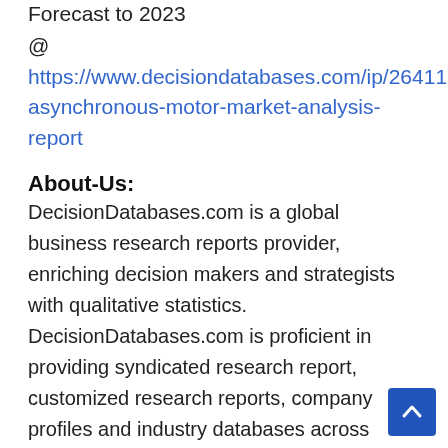Forecast to 2023
@ https://www.decisiondatabases.com/ip/26411-asynchronous-motor-market-analysis-report
About-Us:
DecisionDatabases.com is a global business research reports provider, enriching decision makers and strategists with qualitative statistics. DecisionDatabases.com is proficient in providing syndicated research report, customized research reports, company profiles and industry databases across multiple domains.
Our expert research analysts have been trained to map client's research requirements to the correct research resource leading to a